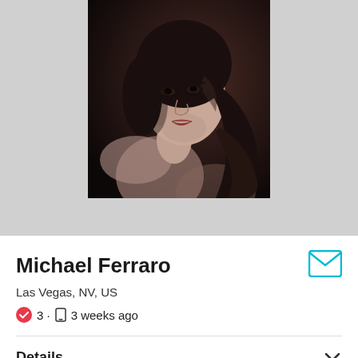[Figure (photo): Black and white portrait photo of a young woman with long wavy hair, bare shoulder, looking over shoulder, dramatic lighting]
Michael Ferraro
Las Vegas, NV, US
✓ 3 · □ 3 weeks ago
Details